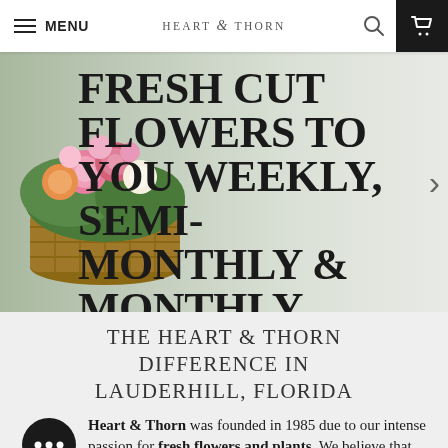MENU | HEART & THORN
[Figure (photo): Hero banner showing a basket of fresh cut colorful flowers (roses, carnations, mixed blooms) on the left with large bold text overlay reading: FRESH CUT FLOWERS TO YOU WEEKLY, SEMI-MONTHLY & MONTHLY]
THE HEART & THORN DIFFERENCE IN LAUDERHILL, FLORIDA
Heart & Thorn was founded in 1985 due to our intense passion for fresh flowers and plants. We believe that